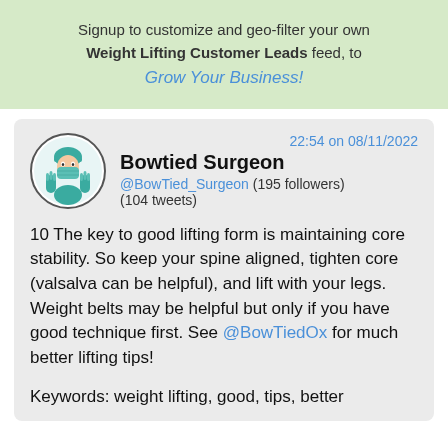Signup to customize and geo-filter your own Weight Lifting Customer Leads feed, to Grow Your Business!
22:54 on 08/11/2022
Bowtied Surgeon @BowTied_Surgeon (195 followers) (104 tweets)
10 The key to good lifting form is maintaining core stability. So keep your spine aligned, tighten core (valsalva can be helpful), and lift with your legs. Weight belts may be helpful but only if you have good technique first. See @BowTiedOx for much better lifting tips!
Keywords: weight lifting, good, tips, better